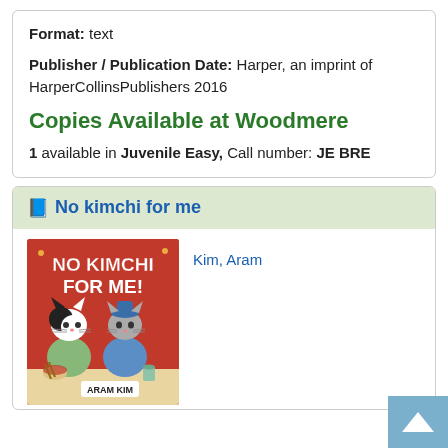Format: text
Publisher / Publication Date: Harper, an imprint of HarperCollinsPublishers 2016
Copies Available at Woodmere
1 available in Juvenile Easy, Call number: JE BRE
No kimchi for me
[Figure (illustration): Book cover of 'NO KIMCHI FOR ME!' by Aram Kim, featuring cartoon cats sitting at a table, on a red background]
Kim, Aram